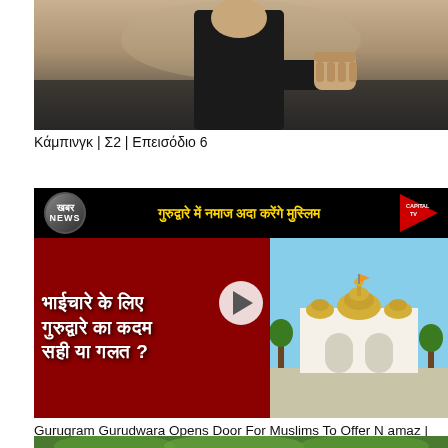[Figure (screenshot): Partial video thumbnail showing a person in dark clothing pointing a fist toward the camera against a blurred background]
Κάμπινγκ | Σ2 | Επεισόδιο 6
[Figure (screenshot): Hindi news video thumbnail from Khabar News / Capital TV showing text about Gurugram Gurudwara opening for Muslims to offer Namaz, with image of gurudwara building and large Hindi text reading bhaiychare ke liye gurudware ka kadam sahi ya galat?]
Gurugram Gurudwara Opens Door For Muslims To Offer Namaz | Capital TV
[Figure (screenshot): Partially visible third video thumbnail showing green foliage/trees at bottom of page]